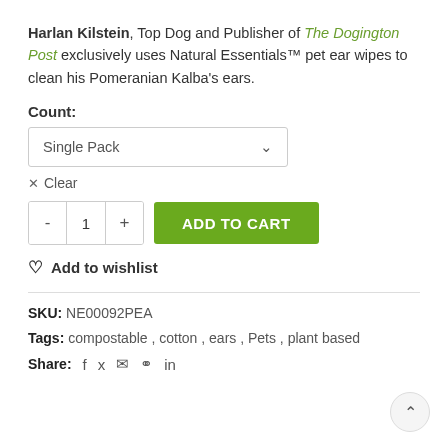Harlan Kilstein, Top Dog and Publisher of The Dogington Post exclusively uses Natural Essentials™ pet ear wipes to clean his Pomeranian Kalba's ears.
Count:
Single Pack (dropdown)
× Clear
- 1 + ADD TO CART
♡ Add to wishlist
SKU: NE00092PEA
Tags: compostable , cotton , ears , Pets , plant based
Share: f  𝕏  ✉  𝗽  in